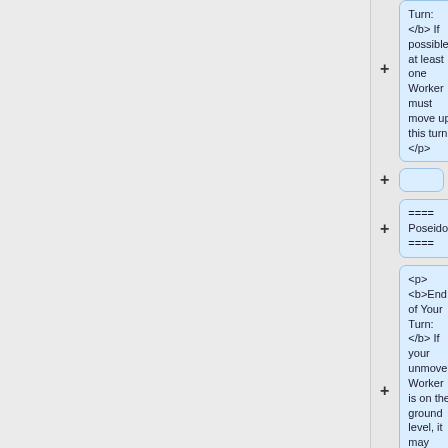Turn:</b> If possible, at least one Worker must move up this turn.</p>
==== Poseidon ====
<p><b>End of Your Turn:</b> If your unmoved Worker is on the ground level, it may build up to three times.</p>